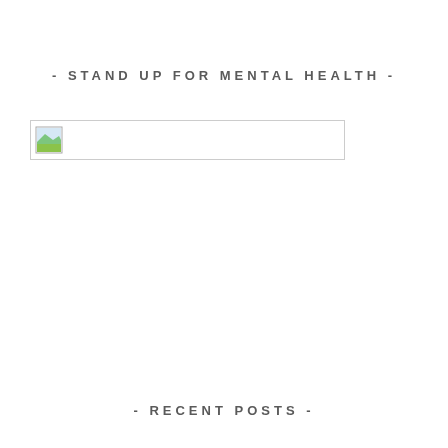- STAND UP FOR MENTAL HEALTH -
[Figure (illustration): Broken image placeholder icon with a small landscape thumbnail in top-left corner, inside a rectangular bordered box]
- RECENT POSTS -